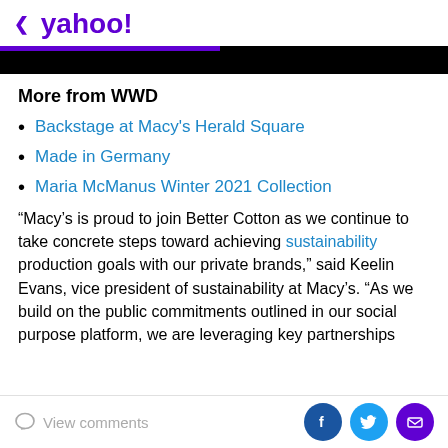< yahoo!
More from WWD
Backstage at Macy's Herald Square
Made in Germany
Maria McManus Winter 2021 Collection
“Macy’s is proud to join Better Cotton as we continue to take concrete steps toward achieving sustainability production goals with our private brands,” said Keelin Evans, vice president of sustainability at Macy’s. “As we build on the public commitments outlined in our social purpose platform, we are leveraging key partnerships
View comments